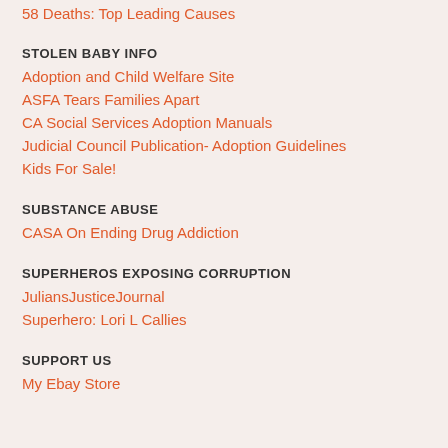58 Deaths: Top Leading Causes
STOLEN BABY INFO
Adoption and Child Welfare Site
ASFA Tears Families Apart
CA Social Services Adoption Manuals
Judicial Council Publication- Adoption Guidelines
Kids For Sale!
SUBSTANCE ABUSE
CASA On Ending Drug Addiction
SUPERHEROS EXPOSING CORRUPTION
JuliansJusticeJournal
Superhero: Lori L Callies
SUPPORT US
My Ebay Store